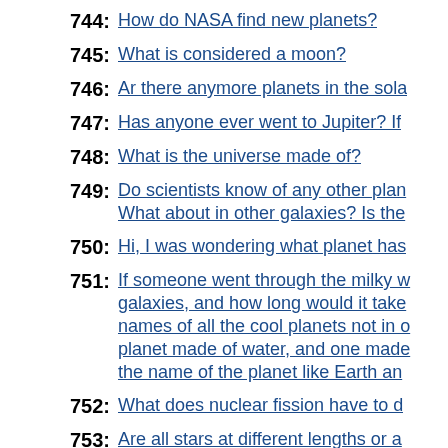744: How do NASA find new planets?
745: What is considered a moon?
746: Ar there anymore planets in the sola
747: Has anyone ever went to Jupiter? If
748: What is the universe made of?
749: Do scientists know of any other plan... What about in other galaxies? Is the
750: Hi, I was wondering what planet has
751: If someone went through the milky w... galaxies, and how long would it take... names of all the cool planets not in o... planet made of water, and one made... the name of the planet like Earth an
752: What does nuclear fission have to d
753: Are all stars at different lengths or a
754: Can people touch stars and if they c
755: ...